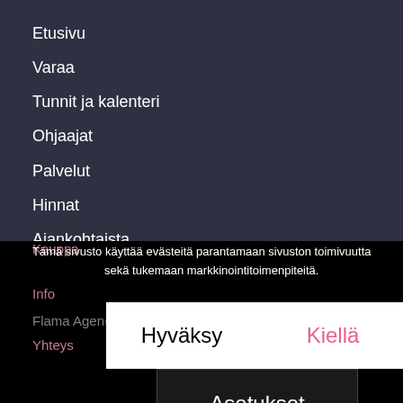Etusivu
Varaa
Tunnit ja kalenteri
Ohjaajat
Palvelut
Hinnat
Ajankohtaista
Kauppa
Tämä sivusto käyttää evästeitä parantamaan sivuston toimivuutta sekä tukemaan markkinointitoimenpiteitä.
Info
Flama Agency
Yhteys
[Figure (screenshot): Cookie consent dialog with three buttons: Hyväksy (Accept), Kiellä (Deny), and Asetukset (Settings)]